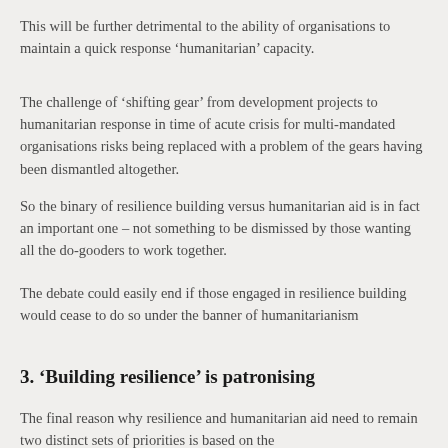This will be further detrimental to the ability of organisations to maintain a quick response 'humanitarian' capacity.
The challenge of 'shifting gear' from development projects to humanitarian response in time of acute crisis for multi-mandated organisations risks being replaced with a problem of the gears having been dismantled altogether.
So the binary of resilience building versus humanitarian aid is in fact an important one – not something to be dismissed by those wanting all the do-gooders to work together.
The debate could easily end if those engaged in resilience building would cease to do so under the banner of humanitarianism
3. 'Building resilience' is patronising
The final reason why resilience and humanitarian aid need to remain two distinct sets of priorities is based on the